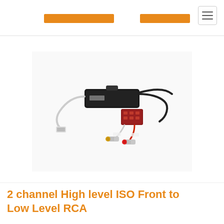[Figure (photo): A 2 channel high level ISO front to low level RCA adapter/converter. The device shows a black rectangular module with wires, a red/brown connector block, and two RCA output plugs (one gold/white, one red).]
2 channel High level ISO Front to Low Level RCA